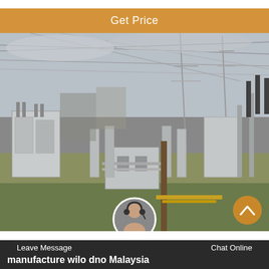Get Price
[Figure (photo): Photograph of an electrical power substation with transformers, switchgear, insulators, power lines, and transmission towers on a grassy field under overcast sky.]
Leave Message   Chat Online   manufacture wilo dno Malaysia